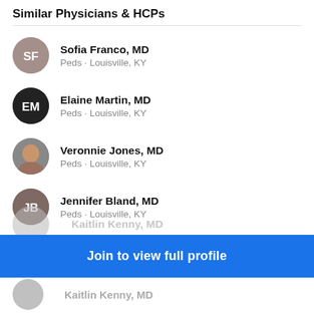Similar Physicians & HCPs
Sofia Franco, MD · Peds · Louisville, KY
Elaine Martin, MD · Peds · Louisville, KY
Veronnie Jones, MD · Peds · Louisville, KY
Jennifer Bland, MD · Peds · Louisville, KY
Bethany Woomer, MD · Peds · Louisville, KY
Kendall Purcell, MD · Peds · Louisville, KY
Join to view full profile
Kaitlin Kenny, MD (partial)